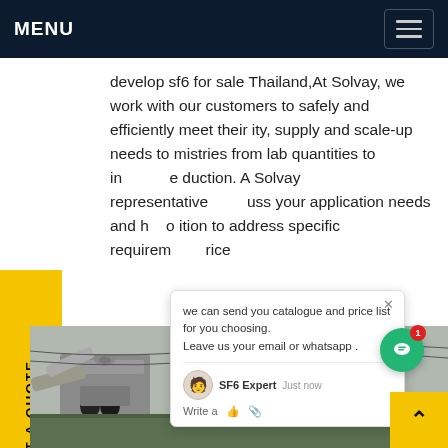MENU
develop sf6 for sale Thailand,At Solvay, we work with our customers to safely and efficiently meet their ity, supply and scale-up needs to mistries from lab quantities to in e duction. A Solvay representative uss your application needs and h o ition to address specific requirem rice
[Figure (screenshot): Chat popup overlay with text: we can send you catalogue and price list for you choosing. Leave us your email or whatsapp. Agent shown as SF6 Expert, just now. Write a message row with like and attachment icons.]
[Figure (photo): Electrical power substation with large transformers, high-voltage cables, transmission towers in background, workers in blue uniforms visible in distance, yellow crane/vehicle on right side.]